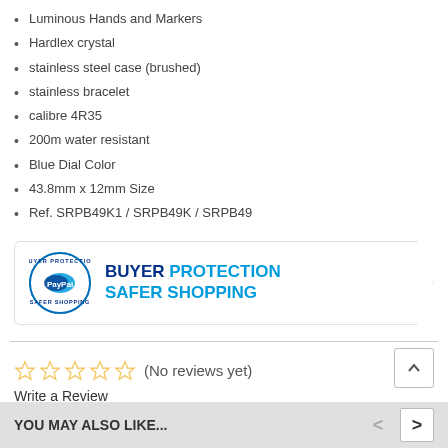Luminous Hands and Markers
Hardlex crystal
stainless steel case (brushed)
stainless bracelet
calibre 4R35
200m water resistant
Blue Dial Color
43.8mm x 12mm Size
Ref. SRPB49K1 / SRPB49K / SRPB49
[Figure (logo): PayPal Buyer Protection Safer Shopping banner with PayPal logo circle and bold text reading BUYER PROTECTION SAFER SHOPPING]
(No reviews yet)
Write a Review
YOU MAY ALSO LIKE...